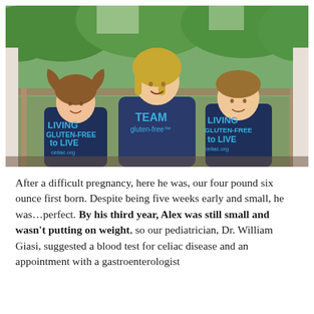[Figure (photo): A woman with blonde hair wearing a navy 'TEAM gluten-free' t-shirt sits between two children, both wearing navy 'LIVING GLUTEN-FREE to LIVE celiac.org' t-shirts. They are seated on a porch with a wooden railing and trees visible in the background.]
After a difficult pregnancy, here he was, our four pound six ounce first born. Despite being five weeks early and small, he was…perfect. By his third year, Alex was still small and wasn't putting on weight, so our pediatrician, Dr. William Giasi, suggested a blood test for celiac disease and an appointment with a gastroenterologist